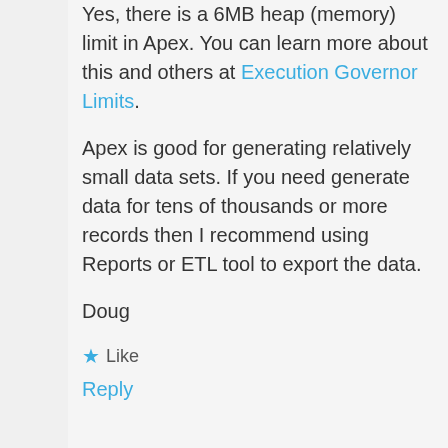Yes, there is a 6MB heap (memory) limit in Apex. You can learn more about this and others at Execution Governor Limits.
Apex is good for generating relatively small data sets. If you need generate data for tens of thousands or more records then I recommend using Reports or ETL tool to export the data.
Doug
Like
Reply